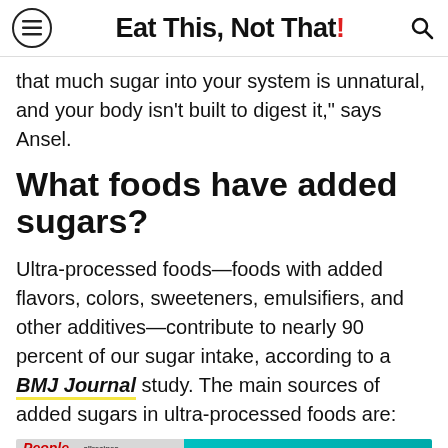Eat This, Not That!
that much sugar into your system is unnatural, and your body isn't built to digest it," says Ansel.
What foods have added sugars?
Ultra-processed foods—foods with added flavors, colors, sweeteners, emulsifiers, and other additives—contribute to nearly 90 percent of our sugar intake, according to a BMJ Journal study. The main sources of added sugars in ultra-processed foods are:
[Figure (other): Advertisement banner: People and allrecipes magazine logos with a photo, beside a cyan background with 'GRAB TOP TITLES FOR FREE! (UP TO $100)' in yellow, and 'JUST PAY SHIPPING & HANDLING' with a 'Shop Now →' button.]